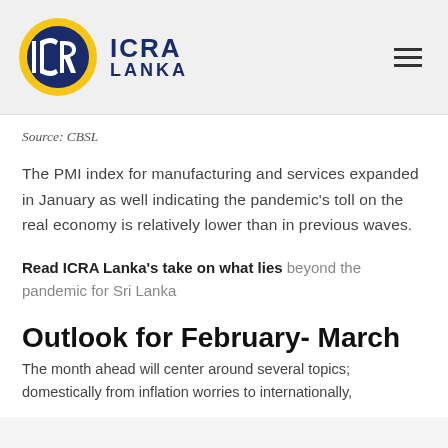[Figure (logo): ICRA Lanka logo: circular yellow and dark blue emblem with stylized ICRA letters, next to text ICRA LANKA in dark blue.]
Source: CBSL
The PMI index for manufacturing and services expanded in January as well indicating the pandemic's toll on the real economy is relatively lower than in previous waves.
Read ICRA Lanka's take on what lies beyond the pandemic for Sri Lanka
Outlook for February- March
The month ahead will center around several topics; domestically from inflation worries to internationally, Ukraine crisis. The Ukraine crisis will be...